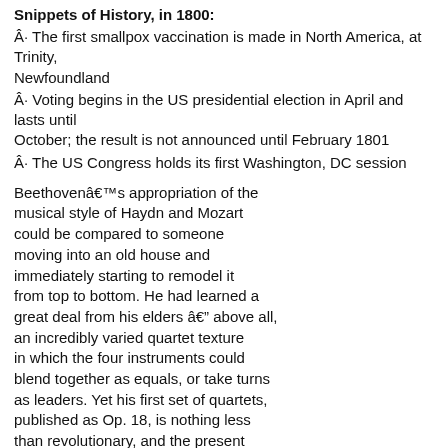Snippets of History, in 1800:
Â· The first smallpox vaccination is made in North America, at Trinity, Newfoundland
Â· Voting begins in the US presidential election in April and lasts until October; the result is not announced until February 1801
Â· The US Congress holds its first Washington, DC session
Beethovenâs appropriation of the musical style of Haydn and Mozart could be compared to someone moving into an old house and immediately starting to remodel it from top to bottom. He had learned a great deal from his elders â above all, an incredibly varied quartet texture in which the four instruments could blend together as equals, or take turns as leaders. Yet his first set of quartets, published as Op. 18, is nothing less than revolutionary, and the present work, with its mysterious section marked âLa malinconiaâ (melancholy), is one of the most innovative of all